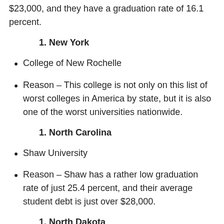$23,000, and they have a graduation rate of 16.1 percent.
New York
College of New Rochelle
Reason – This college is not only on this list of worst colleges in America by state, but it is also one of the worst universities nationwide.
North Carolina
Shaw University
Reason – Shaw has a rather low graduation rate of just 25.4 percent, and their average student debt is just over $28,000.
North Dakota